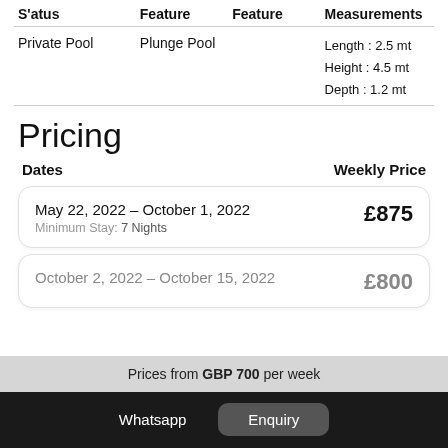| S'atus | Feature | Feature | Measurements |
| --- | --- | --- | --- |
| Private Pool | Plunge Pool |  | Length : 2.5 mt
Height : 4.5 mt
Depth : 1.2 mt |
Pricing
| Dates | Weekly Price |
| --- | --- |
| May 22, 2022 – October 1, 2022
Minimum Stay: 7 Nights | £875 |
| October 2, 2022 – October 15, 2022 | £800 |
Prices from GBP 700 per week
Whatsapp   Enquiry